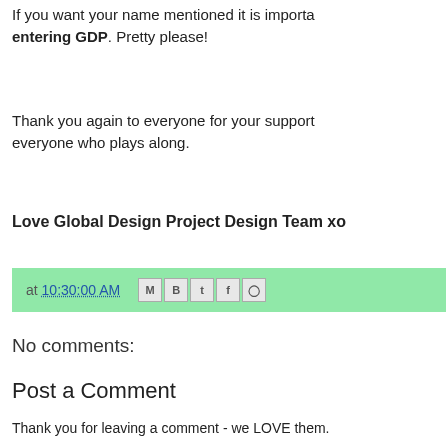If you want your name mentioned it is important entering GDP. Pretty please!
Thank you again to everyone for your support everyone who plays along.
Love Global Design Project Design Team xo
at 10:30:00 AM
No comments:
Post a Comment
Thank you for leaving a comment - we LOVE them.